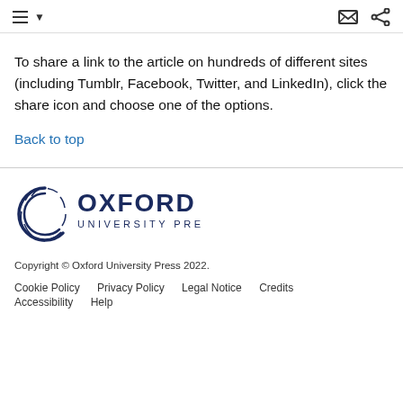To share a link to the article on hundreds of different sites (including Tumblr, Facebook, Twitter, and LinkedIn), click the share icon and choose one of the options.
Back to top
[Figure (logo): Oxford University Press logo with circular emblem and text OXFORD UNIVERSITY PRESS in dark navy]
Copyright © Oxford University Press 2022.
Cookie Policy  Privacy Policy  Legal Notice  Credits  Accessibility  Help